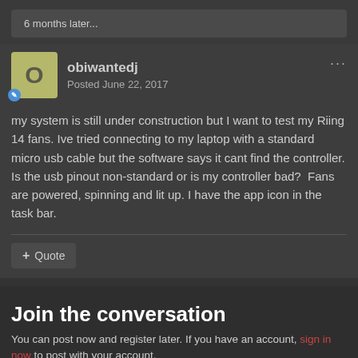6 months later...
obiwantedj
Posted June 22, 2017
my system is still under construction but I want to test my Riing 14 fans. Ive tried connecting to my laptop with a standard micro usb cable but the software says it cant find the controller. Is the usb pinout non-standard or is my controller bad?  Fans are powered, spinning and lit up. I have the app icon in the task bar.
+ Quote
Join the conversation
You can post now and register later. If you have an account, sign in now to post with your account.